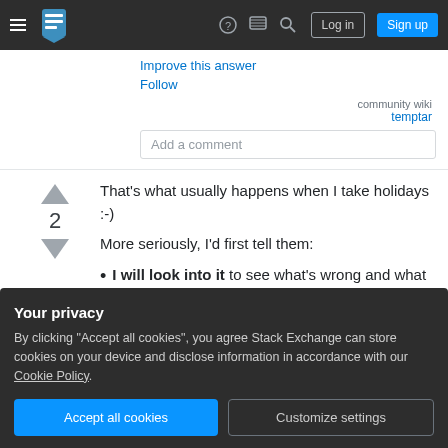Stack Exchange navigation bar with hamburger menu, logo, help, chat, search icons, Log in and Sign up buttons
Improve this answer
Follow
community wiki
temptar
Add a comment
That's what usually happens when I take holidays :-)
More seriously, I'd first tell them:
I will look into it to see what's wrong and what
Your privacy
By clicking "Accept all cookies", you agree Stack Exchange can store cookies on your device and disclose information in accordance with our Cookie Policy.
fix it if it's not already fixed and, if applicable, what